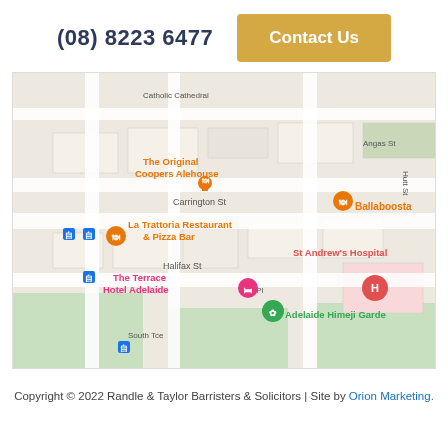(08) 8223 6477
Contact Us
[Figure (map): Google Maps view of Adelaide CBD area showing The Original Coopers Alehouse, La Trattoria Restaurant & Pizza Bar, Ballaboosta, The Terrace Hotel Adelaide, St Andrew's Hospital, Adelaide Himeji Garden, with streets Halifax St, Carrington St, Ely Pl, South Tce, Hutt St, Angas St visible.]
Copyright © 2022 Randle & Taylor Barristers & Solicitors | Site by Orion Marketing.